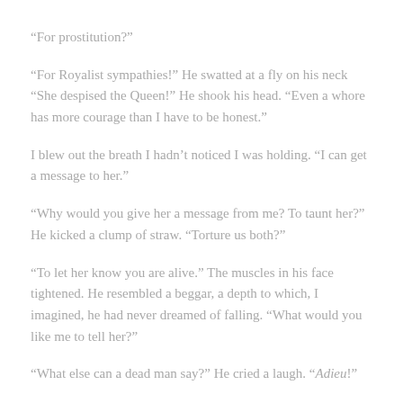“For prostitution?”
“For Royalist sympathies!” He swatted at a fly on his neck “She despised the Queen!” He shook his head. “Even a whore has more courage than I have to be honest.”
I blew out the breath I hadn’t noticed I was holding. “I can get a message to her.”
“Why would you give her a message from me? To taunt her?” He kicked a clump of straw. “Torture us both?”
“To let her know you are alive.” The muscles in his face tightened. He resembled a beggar, a depth to which, I imagined, he had never dreamed of falling. “What would you like me to tell her?”
“What else can a dead man say?” He cried a laugh. “Adieu!”